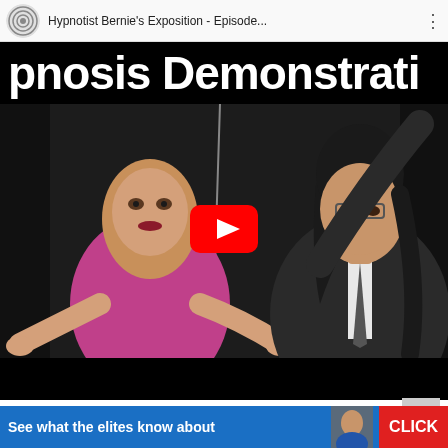[Figure (screenshot): YouTube video embed showing 'Hypnotist Bernie's Exposition - Episode...' with title overlay 'pnosis Demonstrati' in large white bold text on black, and a thumbnail scene of a young woman in a pink top with arms outstretched and a man in a suit with glasses and long dark hair, with a red YouTube play button in the center. Below the video is a black bar. A scroll-up arrow button appears below the video. An advertisement banner at the bottom reads 'See what the elites know about' in bold white text on blue, with a small face image and a red CLICK button.]